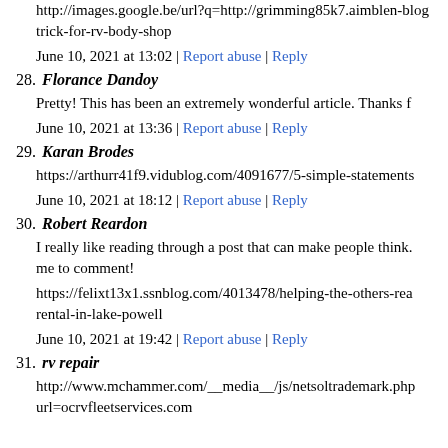http://images.google.be/url?q=http://grimming85k7.airblen-blog…trick-for-rv-body-shop
June 10, 2021 at 13:02 | Report abuse | Reply
28. Florance Dandoy
Pretty! This has been an extremely wonderful article. Thanks f…
June 10, 2021 at 13:36 | Report abuse | Reply
29. Karan Brodes
https://arthurr41f9.vidublog.com/4091677/5-simple-statements…
June 10, 2021 at 18:12 | Report abuse | Reply
30. Robert Reardon
I really like reading through a post that can make people think. Also, thanks for allowing me to comment!
https://felixt13x1.ssnblog.com/4013478/helping-the-others-rea…rental-in-lake-powell
June 10, 2021 at 19:42 | Report abuse | Reply
31. rv repair
http://www.mchammer.com/__media__/js/netsoltrademark.php…url=ocrvfleetservices.com…